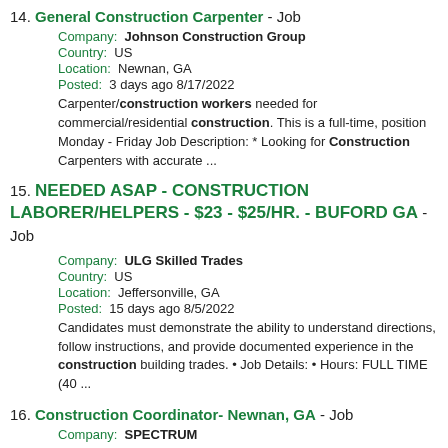14. General Construction Carpenter - Job
Company: Johnson Construction Group
Country: US
Location: Newnan, GA
Posted: 3 days ago 8/17/2022
Carpenter/construction workers needed for commercial/residential construction. This is a full-time, position Monday - Friday Job Description: * Looking for Construction Carpenters with accurate ...
15. NEEDED ASAP - CONSTRUCTION LABORER/HELPERS - $23 - $25/HR. - BUFORD GA - Job
Company: ULG Skilled Trades
Country: US
Location: Jeffersonville, GA
Posted: 15 days ago 8/5/2022
Candidates must demonstrate the ability to understand directions, follow instructions, and provide documented experience in the construction building trades. • Job Details: • Hours: FULL TIME (40 ...
16. Construction Coordinator- Newnan, GA - Job
Company: SPECTRUM